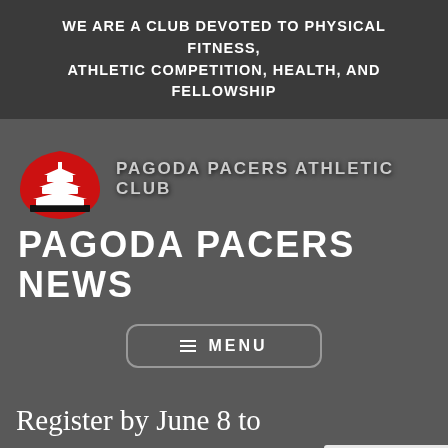WE ARE A CLUB DEVOTED TO PHYSICAL FITNESS, ATHLETIC COMPETITION, HEALTH, AND FELLOWSHIP
[Figure (logo): Pagoda Pacers Athletic Club logo: red semicircle with white pagoda silhouette and black base, next to bold uppercase text PAGODA PACERS ATHLETIC CLUB]
PAGODA PACERS NEWS
≡ MENU
Register by June 8 to "Pre-register for Activity"...